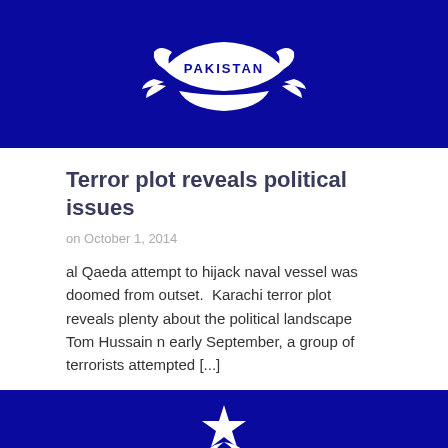[Figure (logo): White Pakistan emblem/crest on dark navy blue background]
Terror plot reveals political issues
on October 1, 2014
al Qaeda attempt to hijack naval vessel was doomed from outset.  Karachi terror plot reveals plenty about the political landscape Tom Hussain n early September, a group of terrorists attempted [...]
[Figure (logo): White scout/crescent and star emblem on dark navy blue background]